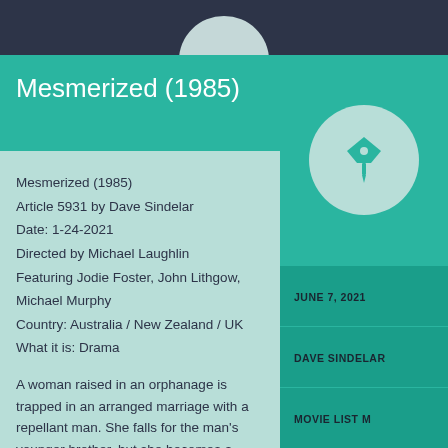[Figure (illustration): Partial avatar circle at top center on dark navy background]
Mesmerized (1985)
Mesmerized (1985)
Article 5931 by Dave Sindelar
Date: 1-24-2021
Directed by Michael Laughlin
Featuring Jodie Foster, John Lithgow, Michael Murphy
Country: Australia / New Zealand / UK
What it is: Drama
A woman raised in an orphanage is trapped in an arranged marriage with a repellant man. She falls for the man’s younger brother, but she becomes a victim of circumstances when she is told that she is responsible for the younger brother’s death, and only her husband
[Figure (illustration): Teal push-pin icon centered in a light teal circle]
JUNE 7, 2021
DAVE SINDELAR
MOVIE LIST M